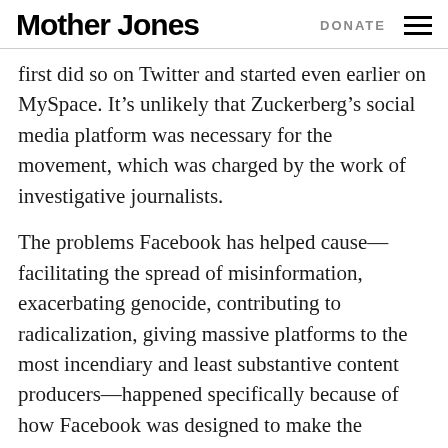Mother Jones | DONATE
first did so on Twitter and started even earlier on MySpace. It’s unlikely that Zuckerberg’s social media platform was necessary for the movement, which was charged by the work of investigative journalists.
The problems Facebook has helped cause—facilitating the spread of misinformation, exacerbating genocide, contributing to radicalization, giving massive platforms to the most incendiary and least substantive content producers—happened specifically because of how Facebook was designed to make the company’s executives, owners, and shareholders money. That’s a very real benefit accruing to a very small group.